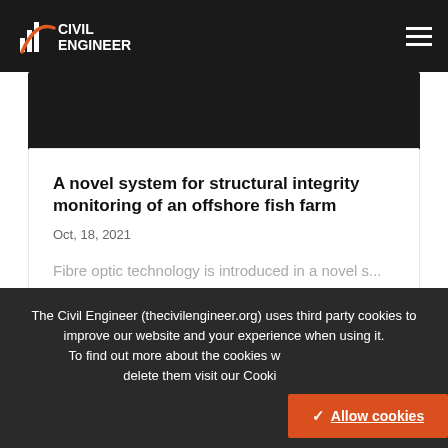CIVIL ENGINEER
[Figure (photo): Dark hero image, partially cropped at top of article card]
A novel system for structural integrity monitoring of an offshore fish farm
Oct, 18, 2021
Fibre optic technology is introduced in a novel s...
The Civil Engineer (thecivilengineer.org) uses third party cookies to improve our website and your experience when using it.
To find out more about the cookies w... delete them visit our Cooki...